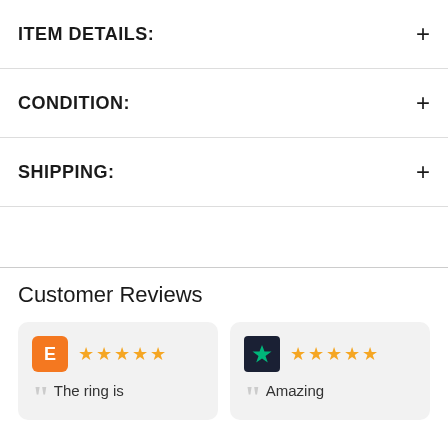ITEM DETAILS:
CONDITION:
SHIPPING:
Customer Reviews
The ring is
Amazing